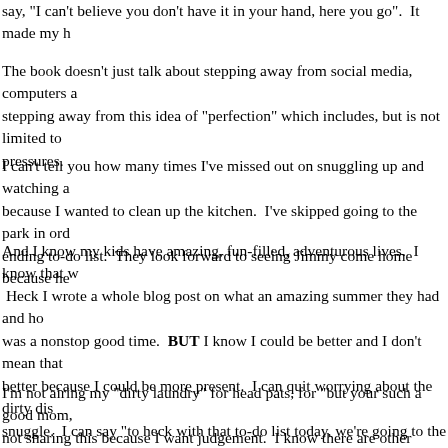say, "I can't believe you don't have it in your hand, here you go".  It made my h
The book doesn't just talk about stepping away from social media, computers a stepping away from this idea of "perfection" which includes, but is not limited to pressures.
I can't tell you how many times I've missed out on snuggling up and watching a because I wanted to clean up the kitchen.  I've skipped going to the park in ord ending to-do list.  They look forward to seeing Jimmy come home because he
And I know my kids have amazing, fun-filled, adventurous lives.  I know that w  Heck I wrote a whole blog post on what an amazing summer they had and ho was a nonstop good time.  BUT I know I could be better and I don't mean that better because I could be more present.  I can quit worrying about the dirty dis snuggle.  I can say "to heck with that to-do list today, we're going to the park!". childhood I want them to remember ME, not a clean house.  I want them to re mommy was always on her phone/computer.
I'm not airing my "dirty laundry" for head pats, for "but your such a good mom, not sharing this because I want judgement.  I know there are other women, mo They are consumed by social media just as much as I was.  They realize that nothing about it.  I've been there and it's a sucky, sucky place to be.  My book